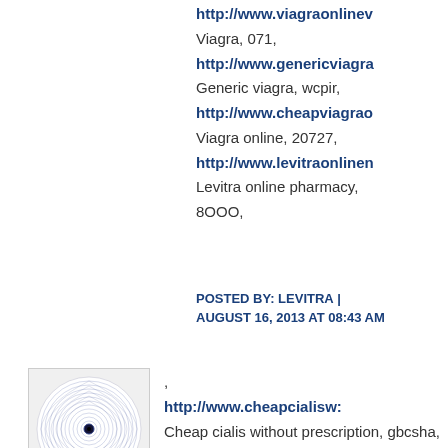http://www.viagraonlinev
Viagra, 071,
http://www.genericviagra
Generic viagra, wcpir,
http://www.cheapviagraо
Viagra online, 20727,
http://www.levitraonlinen
Levitra online pharmacy,
8OOO,
POSTED BY: LEVITRA | AUGUST 16, 2013 AT 08:43 AM
[Figure (illustration): Decorative circular spirograph pattern in blue/grey tones with concentric rings]
'
http://www.cheapcialisw:
Cheap cialis without prescription, gbcsha,
http://www.buycialissw.c
Cialis vs viagra, 79859,
http://www.cialisonlineus
Discount generic cialis,
uro,
http://www.buylevitraww
levitra ...